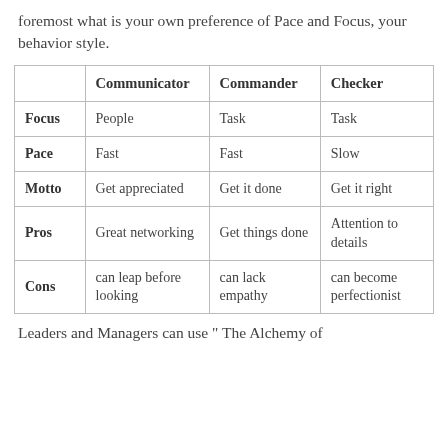foremost what is your own preference of Pace and Focus, your behavior style.
|  | Communicator | Commander | Checker |
| --- | --- | --- | --- |
| Focus | People | Task | Task |
| Pace | Fast | Fast | Slow |
| Motto | Get appreciated | Get it done | Get it right |
| Pros | Great networking | Get things done | Attention to details |
| Cons | can leap before looking | can lack empathy | can become perfectionist |
Leaders and Managers can use " The Alchemy of